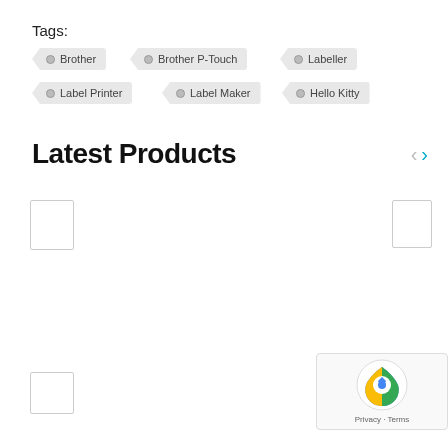Tags:
Brother
Brother P-Touch
Labeller
Label Printer
Label Maker
Hello Kitty
Latest Products
[Figure (other): reCAPTCHA badge with logo and Privacy - Terms text]